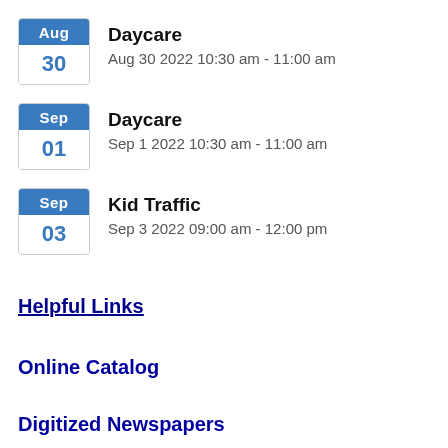Daycare
Aug 30 2022 10:30 am - 11:00 am
Daycare
Sep 1 2022 10:30 am - 11:00 am
Kid Traffic
Sep 3 2022 09:00 am - 12:00 pm
Helpful Links
Online Catalog
Digitized Newspapers